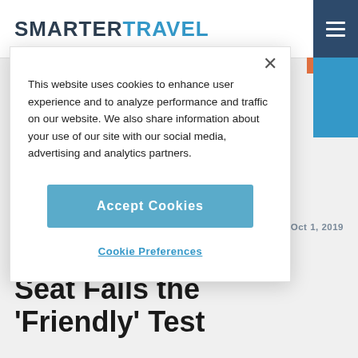SMARTER TRAVEL
This website uses cookies to enhance user experience and to analyze performance and traffic on our website. We also share information about your use of our site with our social media, advertising and analytics partners.
Accept Cookies
Cookie Preferences
AIRFARE DEALS	Oct 1, 2019
United's New Coach Seat Fails the 'Friendly' Test